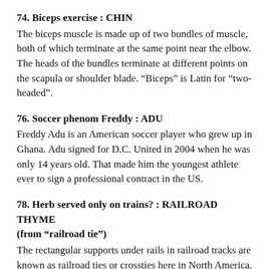74. Biceps exercise : CHIN
The biceps muscle is made up of two bundles of muscle, both of which terminate at the same point near the elbow. The heads of the bundles terminate at different points on the scapula or shoulder blade. “Biceps” is Latin for “two-headed”.
76. Soccer phenom Freddy : ADU
Freddy Adu is an American soccer player who grew up in Ghana. Adu signed for D.C. United in 2004 when he was only 14 years old. That made him the youngest athlete ever to sign a professional contract in the US.
78. Herb served only on trains? : RAILROAD THYME (from “railroad tie”)
The rectangular supports under rails in railroad tracks are known as railroad ties or crossties here in North America. Over on the other side of the Atlantic, we call them railway sleepers.